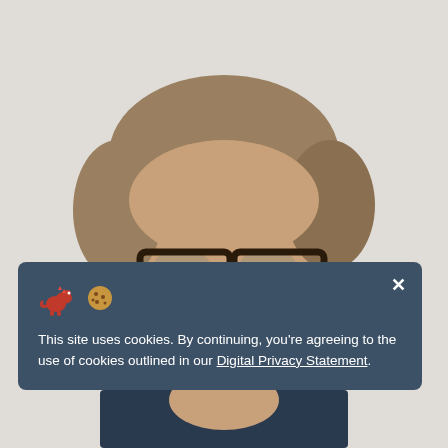[Figure (photo): Close-up portrait photo of a middle-aged man with tousled brown-grey hair, dark-framed glasses with rectangular lenses, small hoop earrings, light stubble, smiling slightly. Background is plain white/light grey. The photo is cropped showing from the top of his head to just below the chin, with a glimpse of a dark shirt at the very bottom of the frame.]
This site uses cookies. By continuing, you're agreeing to the use of cookies outlined in our Digital Privacy Statement.